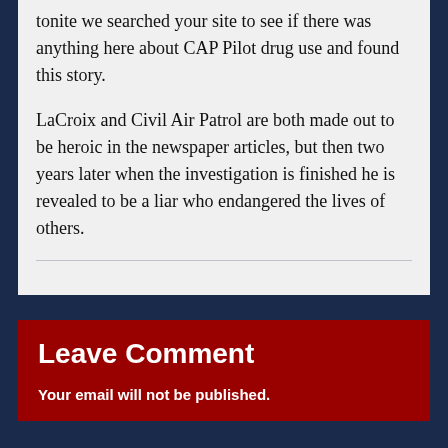tonite we searched your site to see if there was anything here about CAP Pilot drug use and found this story.

LaCroix and Civil Air Patrol are both made out to be heroic in the newspaper articles, but then two years later when the investigation is finished he is revealed to be a liar who endangered the lives of others.
Leave Comment
Your email will not be published.